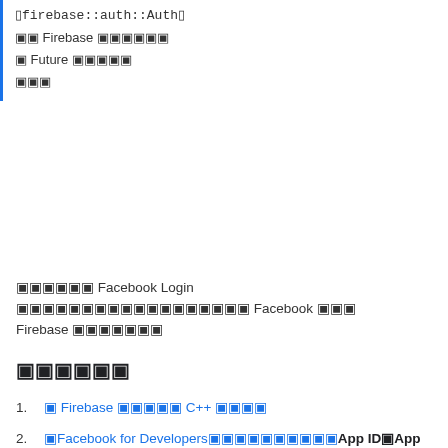（日本語）firebase::auth::Auth（）
取得 Firebase アプリの情報
と Future の戻り値
終了
このページは Facebook Login を使用してアプリに Facebook ログイン Firebase 認証の内容。
始める前に
1. に Firebase プロジェクトに C++ を追加します。
2. 「Facebook for Developers」でアプリを登録し、App ID と App Secret を取得します。
3. Facebook ログインを有効にする
a. Firebase コンソール で Auth から